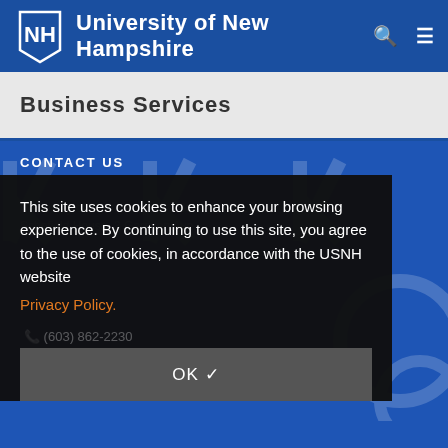University of New Hampshire
Business Services
CONTACT US
University of New Hampshire Student Accounts
This site uses cookies to enhance your browsing experience. By continuing to use this site, you agree to the use of cookies, in accordance with the USNH website
Privacy Policy.
(603) 862-2230
OK ✓